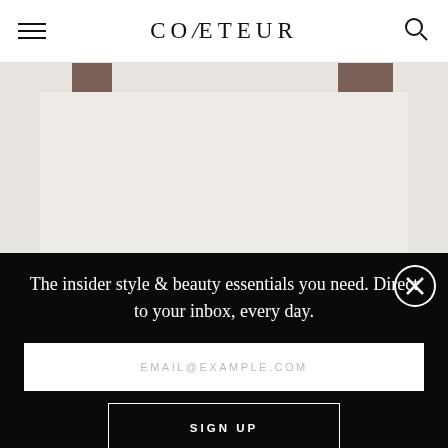COVETEUR
[Figure (photo): Partial view of a fashion/lifestyle product on a light cream/beige background, with two dark brown rectangular tabs visible at the top]
The insider style & beauty essentials you need. Direct to your inbox, every day.
EMAIL@EXAMPLE.COM
SIGN UP